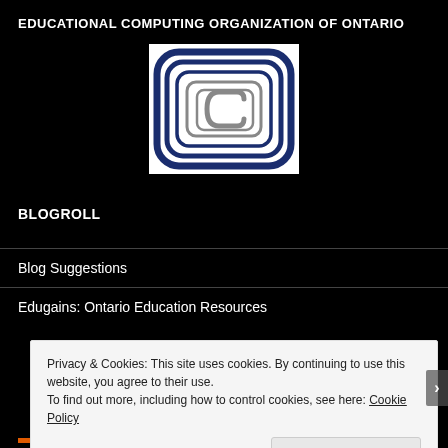EDUCATIONAL COMPUTING ORGANIZATION OF ONTARIO
[Figure (logo): ECOO logo: stylized letter C/E shapes in concentric rounded rectangles, dark blue and grey, on white background]
BLOGROLL
Blog Suggestions
Edugains: Ontario Education Resources
Privacy & Cookies: This site uses cookies. By continuing to use this website, you agree to their use.
To find out more, including how to control cookies, see here: Cookie Policy
Close and accept